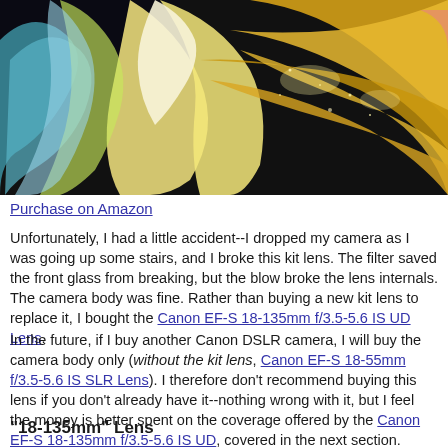[Figure (photo): A dancer in a golden/yellow sparkling costume with flowing colorful fabric (teal, yellow, white) against a dark background.]
Purchase on Amazon
Unfortunately, I had a little accident--I dropped my camera as I was going up some stairs, and I broke this kit lens. The filter saved the front glass from breaking, but the blow broke the lens internals. The camera body was fine. Rather than buying a new kit lens to replace it, I bought the Canon EF-S 18-135mm f/3.5-5.6 IS UD Lens.
In the future, if I buy another Canon DSLR camera, I will buy the camera body only (without the kit lens, Canon EF-S 18-55mm f/3.5-5.6 IS SLR Lens). I therefore don't recommend buying this lens if you don't already have it--nothing wrong with it, but I feel the money is better spent on the coverage offered by the Canon EF-S 18-135mm f/3.5-5.6 IS UD, covered in the next section.
"18-135mm" Lens